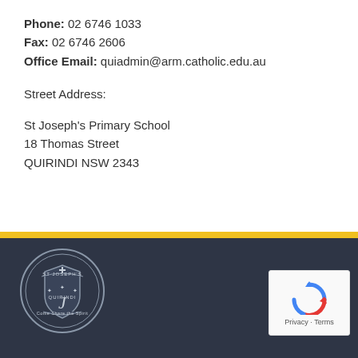Phone: 02 6746 1033
Fax: 02 6746 2606
Office Email: quiadmin@arm.catholic.edu.au

Street Address:

St Joseph's Primary School
18 Thomas Street
QUIRINDI NSW 2343
[Figure (logo): St Joseph's Primary School Quirindi circular crest logo with text 'Come Share the Spirit']
[Figure (other): Google reCAPTCHA widget with Privacy and Terms links]